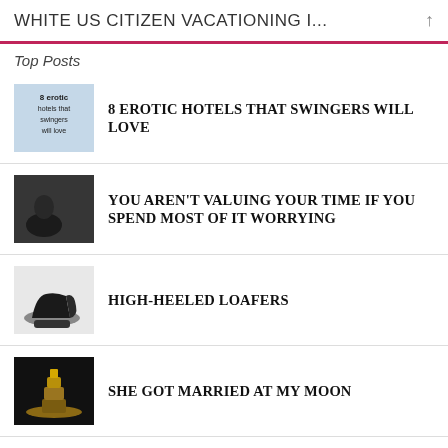WHITE US CITIZEN VACATIONING I...
Top Posts
8 EROTIC HOTELS THAT SWINGERS WILL LOVE
YOU AREN'T VALUING YOUR TIME IF YOU SPEND MOST OF IT WORRYING
HIGH-HEELED LOAFERS
SHE GOT MARRIED AT MY MOON
MARY J. BLIGE'S MR. WRONG HAIRSTYLE
5 REASONS WHY YOU SHOULD STOP LOSING SLEEP OVER PEOPLE WHO HURT YOU